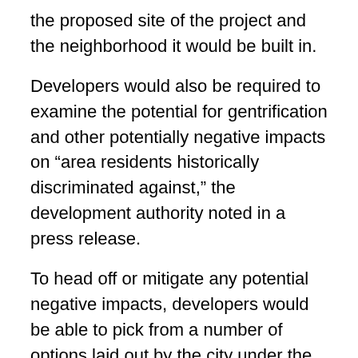the proposed site of the project and the neighborhood it would be built in.
Developers would also be required to examine the potential for gentrification and other potentially negative impacts on “area residents historically discriminated against,” the development authority noted in a press release.
To head off or mitigate any potential negative impacts, developers would be able to pick from a number of options laid out by the city under the new review process.
These include boosting the number of affordable units available for rent or purchase at below market rates in the proposed project, or further deepening the affordability.
Other options include providing more two-bedroom